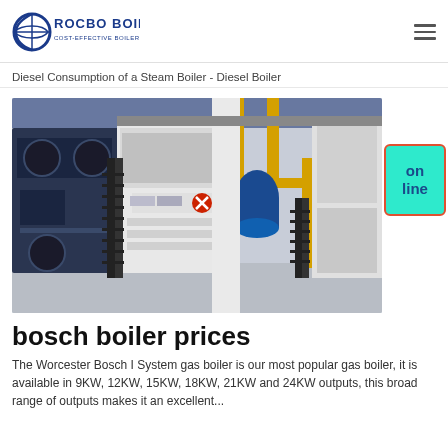ROCBO BOILER — COST-EFFECTIVE BOILER SUPPLIER
Diesel Consumption of a Steam Boiler - Diesel Boiler
[Figure (photo): Industrial boiler room with large blue and white steam boilers, yellow pipes, metal staircases, and concrete floor in a factory setting.]
bosch boiler prices
The Worcester Bosch I System gas boiler is our most popular gas boiler, it is available in 9KW, 12KW, 15KW, 18KW, 21KW and 24KW outputs, this broad range of outputs makes it an excellent...